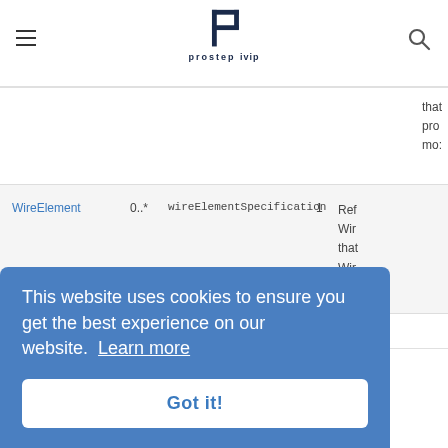prostep ivip
| Name | Mult. | Property | Num | Description |
| --- | --- | --- | --- | --- |
|  |  |  |  | that pro- mo- |
| WireElement | 0..* | wireElementSpecification | 1 | Ref- Wir- that Wir- |
PREVIOUS
Classes
Last updated on Apr 14, 2021
Edit this page
This website uses cookies to ensure you get the best experience on our website. Learn more